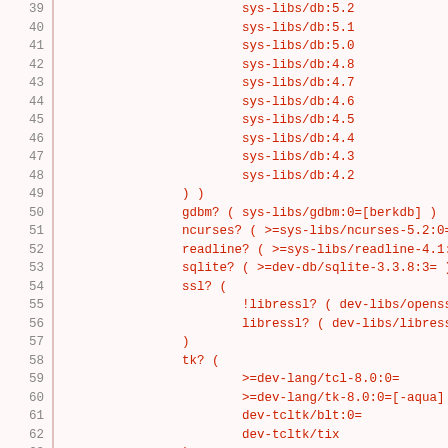Code listing showing package dependency configuration lines 39-69
39: sys-libs/db:5.2
40: sys-libs/db:5.1
41: sys-libs/db:5.0
42: sys-libs/db:4.8
43: sys-libs/db:4.7
44: sys-libs/db:4.6
45: sys-libs/db:4.5
46: sys-libs/db:4.4
47: sys-libs/db:4.3
48: sys-libs/db:4.2
49: ) )
50: gdbm? ( sys-libs/gdbm:0=[berkdb] )
51: ncurses? ( >=sys-libs/ncurses-5.2:0= )
52: readline? ( >=sys-libs/readline-4.1:0= )
53: sqlite? ( >=dev-db/sqlite-3.3.8:3= )
54: ssl? (
55: !libressl? ( dev-libs/openssl:0= )
56: libressl? ( dev-libs/libressl:0= )
57: )
58: tk? (
59: >=dev-lang/tcl-8.0:0=
60: >=dev-lang/tk-8.0:0=[-aqua]
61: dev-tcltk/blt:0=
62: dev-tcltk/tix
63: )
64: xml? ( >=dev-libs/expat-2.1 )
65: !!<sys-apps/portage-2.1.9"
66: # bluetooth requires headers from bluez
67: DEPEND="${RDEPEND}
68: bluetooth? ( net-wireless/bluez )
69: virtual/pkgconfig